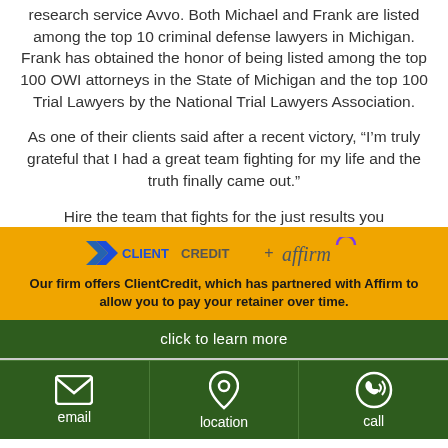research service Avvo. Both Michael and Frank are listed among the top 10 criminal defense lawyers in Michigan. Frank has obtained the honor of being listed among the top 100 OWI attorneys in the State of Michigan and the top 100 Trial Lawyers by the National Trial Lawyers Association.
As one of their clients said after a recent victory, “I’m truly grateful that I had a great team fighting for my life and the truth finally came out.”
Hire the team that fights for the just results you
[Figure (logo): ClientCredit + Affirm logos]
Our firm offers ClientCredit, which has partnered with Affirm to allow you to pay your retainer over time.
click to learn more
email
location
call